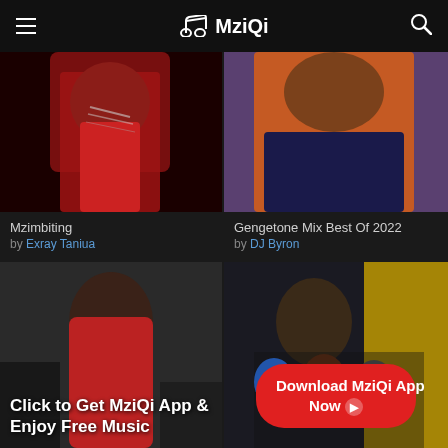MziQi
[Figure (photo): Person in red jacket with silver chains - Mzimbiting album art]
[Figure (photo): Person in orange puffer jacket - Gengetone Mix Best Of 2022 album art]
Mzimbiting
by Exray Taniua
Gengetone Mix Best Of 2022
by DJ Byron
[Figure (photo): Person in red floral shirt with bandana - music app promotional image]
[Figure (photo): Group of people - music app promotional image]
Click to Get MziQi App & Enjoy Free Music
Download MziQi App Now